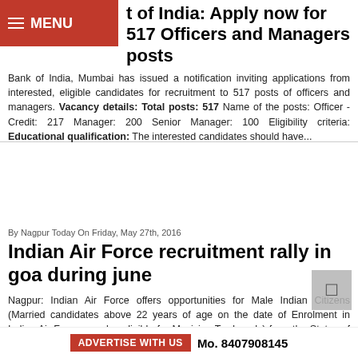MENU
t of India: Apply now for 517 Officers and Managers posts
Bank of India, Mumbai has issued a notification inviting applications from interested, eligible candidates for recruitment to 517 posts of officers and managers. Vacancy details: Total posts: 517 Name of the posts: Officer -Credit: 217 Manager: 200 Senior Manager: 100 Eligibility criteria: Educational qualification: The interested candidates should have...
By Nagpur Today On Friday, May 27th, 2016
Indian Air Force recruitment rally in goa during june
Nagpur: Indian Air Force offers opportunities for Male Indian Citizens (Married candidates above 22 years of age on the date of Enrolment in Indian Air Force are also eligible for Musician Trade only) from the States of Maharashtra, Gujarat and...
ADVERTISE WITH US  Mo. 8407908145